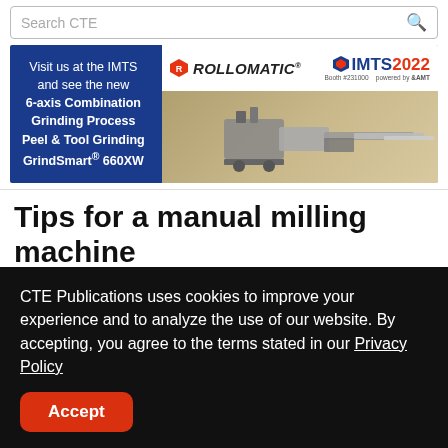Search CTE
[Figure (photo): Rollomatic IMTS 2022 advertisement banner showing a grinding machine with text: Visit us at the IMTS and see the new 6-axis Combination Grinding Process Peel & Tool Grinding GrindSmart® 660XW]
Tips for a manual milling machine
Author Tom Lipton
CTE Publications uses cookies to improve your experience and to analyze the use of our website. By accepting, you agree to the terms stated in our Privacy Policy